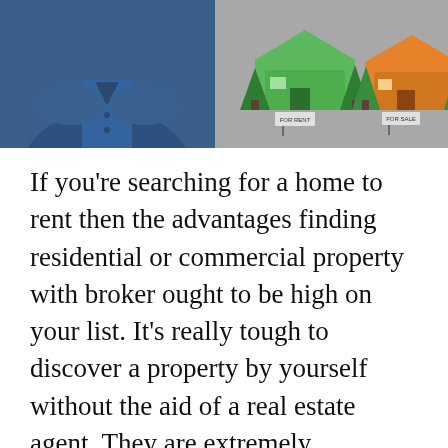[Figure (photo): Left half shows a person wearing a blue polo shirt. Right half shows cartoon illustrations of two houses with signs reading 'FOR RENT' and 'FOR SALE', with green trees behind them, on a grey background.]
If you're searching for a home to rent then the advantages finding residential or commercial property with broker ought to be high on your list. It's really tough to discover a property by yourself without the aid of a real estate agent. They are extremely experienced in finding properties and can save you a lot of time and trouble. Not just will they discover you the ideal property however they can also show it to prospective buyers. There is absolutely nothing even worse than revealing a home